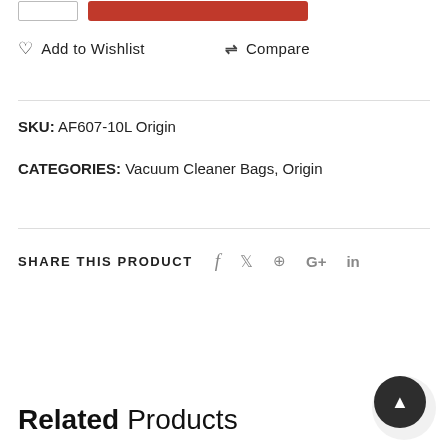Add to Wishlist   Compare
SKU: AF607-10L Origin
CATEGORIES: Vacuum Cleaner Bags, Origin
SHARE THIS PRODUCT  f  twitter  pinterest  G+  in
Related Products